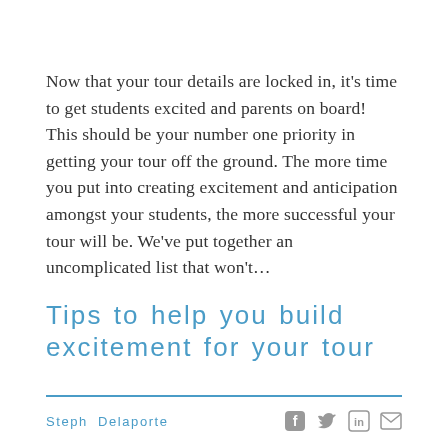Now that your tour details are locked in, it's time to get students excited and parents on board! This should be your number one priority in getting your tour off the ground. The more time you put into creating excitement and anticipation amongst your students, the more successful your tour will be. We've put together an uncomplicated list that won't...
Tips to help you build excitement for your tour
Steph Delaporte